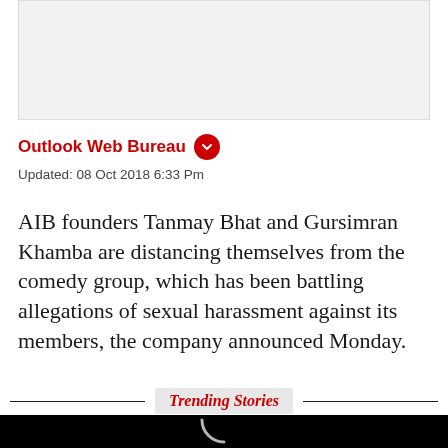[Figure (other): Advertisement placeholder box with light gray background]
Outlook Web Bureau
Updated: 08 Oct 2018 6:33 Pm
AIB founders Tanmay Bhat and Gursimran Khamba are distancing themselves from the comedy group, which has been battling allegations of sexual harassment against its members, the company announced Monday.
Trending Stories
[Figure (screenshot): Dark/black video player thumbnail with a loading spinner arc at the bottom center]